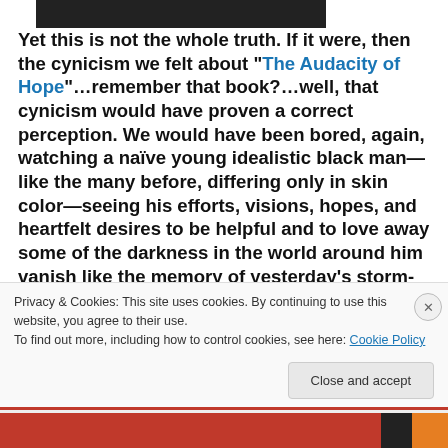[Figure (photo): Dark image strip at top of page, appears to be a cropped photograph]
Yet this is not the whole truth. If it were, then the cynicism we felt about “The Audacity of Hope”…remember that book?…well, that cynicism would have proven a correct perception. We would have been bored, again, watching a naïve young idealistic black man—like the many before, differing only in skin color—seeing his efforts, visions, hopes, and heartfelt desires to be helpful and to love away some of the darkness in the world around him vanish like the memory of yesterday’s storm-driven winds. But we, I,
Privacy & Cookies: This site uses cookies. By continuing to use this website, you agree to their use.
To find out more, including how to control cookies, see here: Cookie Policy